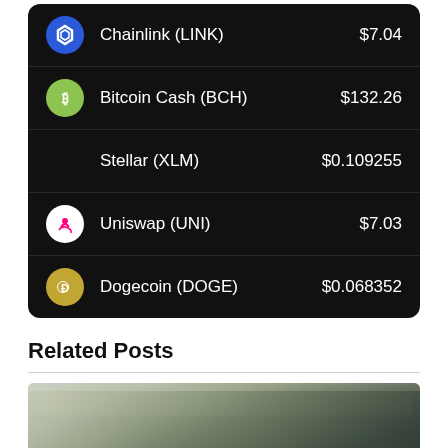| Coin | Price |
| --- | --- |
| Chainlink (LINK) | $7.04 |
| Bitcoin Cash (BCH) | $132.26 |
| Stellar (XLM) | $0.109255 |
| Uniswap (UNI) | $7.03 |
| Dogecoin (DOGE) | $0.068352 |
Related Posts
[Figure (photo): Blurred photo of US dollar bills showing text 'THE UNITED STATES OF AMERICA']